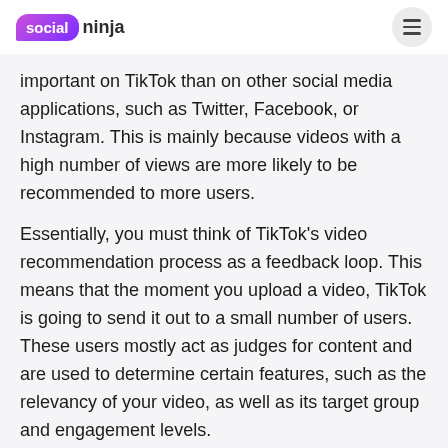social ninja
important on TikTok than on other social media applications, such as Twitter, Facebook, or Instagram. This is mainly because videos with a high number of views are more likely to be recommended to more users.
Essentially, you must think of TikTok's video recommendation process as a feedback loop. This means that the moment you upload a video, TikTok is going to send it out to a small number of users. These users mostly act as judges for content and are used to determine certain features, such as the relevancy of your video, as well as its target group and engagement levels.
To judge whether your video will be shown to more people, TikTok will generally pay attention to important